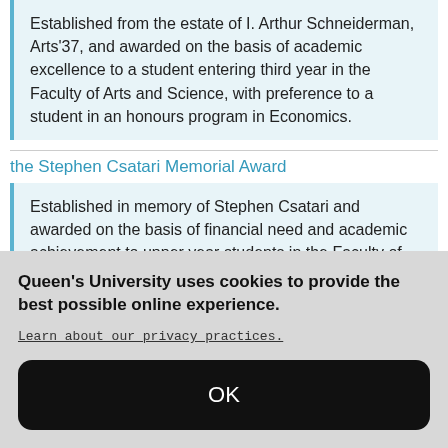Established from the estate of I. Arthur Schneiderman, Arts'37, and awarded on the basis of academic excellence to a student entering third year in the Faculty of Arts and Science, with preference to a student in an honours program in Economics.
the Stephen Csatari Memorial Award
Established in memory of Stephen Csatari and awarded on the basis of financial need and academic achievement to upper year students in the Faculty of A&S, with a major or medial in History, who are
Queen's University uses cookies to provide the best possible online experience.
Learn about our privacy practices.
OK